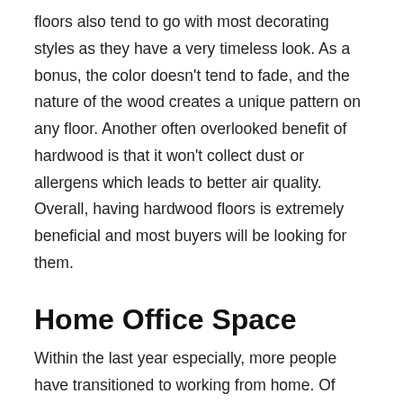floors also tend to go with most decorating styles as they have a very timeless look. As a bonus, the color doesn't tend to fade, and the nature of the wood creates a unique pattern on any floor. Another often overlooked benefit of hardwood is that it won't collect dust or allergens which leads to better air quality. Overall, having hardwood floors is extremely beneficial and most buyers will be looking for them.
Home Office Space
Within the last year especially, more people have transitioned to working from home. Of course, it can be difficult to work well if you don't have a designated workspace. Having a dedicated home office space can be very appealing to younger buyers who are working from home. This needs to be a space that will be free from distractions. An area away from common areas like the kitchen or living room would be ideal. As you sell your home,